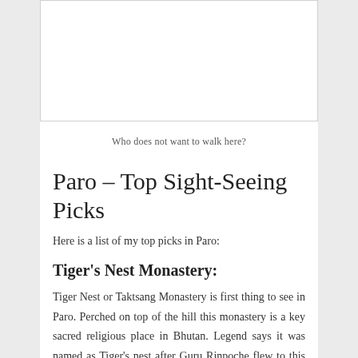[Figure (photo): A scenic photo placeholder showing a walkway or path, with caption below]
Who does not want to walk here?
Paro – Top Sight-Seeing Picks
Here is a list of my top picks in Paro:
Tiger's Nest Monastery:
Tiger Nest or Taktsang Monastery is first thing to see in Paro. Perched on top of the hill this monastery is a key sacred religious place in Bhutan. Legend says it was named as Tiger's nest after Guru Rinpoche flew to this place on a Tigress' back to subdue a demon and bring peace in the region. There are many legends around Guru Rinpoche and many other Buddhist saints. Built